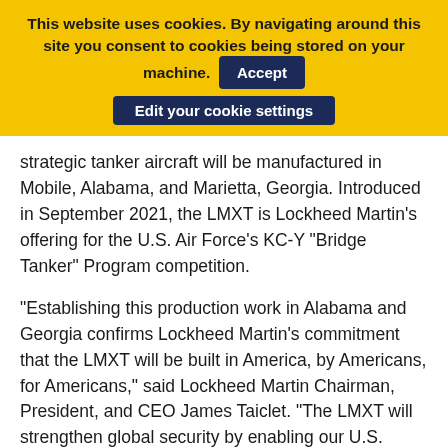This website uses cookies. By navigating around this site you consent to cookies being stored on your machine. Accept Edit your cookie settings
strategic tanker aircraft will be manufactured in Mobile, Alabama, and Marietta, Georgia. Introduced in September 2021, the LMXT is Lockheed Martin's offering for the U.S. Air Force's KC-Y "Bridge Tanker" Program competition.
"Establishing this production work in Alabama and Georgia confirms Lockheed Martin's commitment that the LMXT will be built in America, by Americans, for Americans," said Lockheed Martin Chairman, President, and CEO James Taiclet. "The LMXT will strengthen global security by enabling our U.S. service members to carry out their most critical missions at extended ranges. At home, the LMXT will strengthen job growth and manufacturing by drawing on the experience and talents of a high-tech American workforce in two states that are proven leaders in aviation."